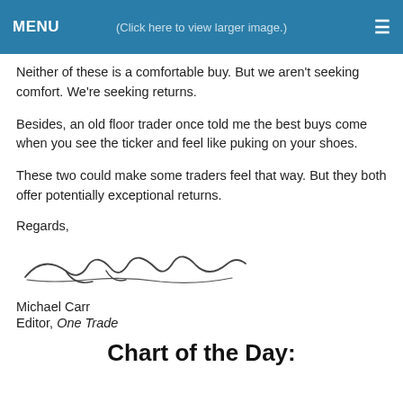MENU   (Click here to view larger image.)   ≡
Neither of these is a comfortable buy. But we aren't seeking comfort. We're seeking returns.
Besides, an old floor trader once told me the best buys come when you see the ticker and feel like puking on your shoes.
These two could make some traders feel that way. But they both offer potentially exceptional returns.
Regards,
[Figure (illustration): Handwritten signature of Michael Carr]
Michael Carr
Editor, One Trade
Chart of the Day: